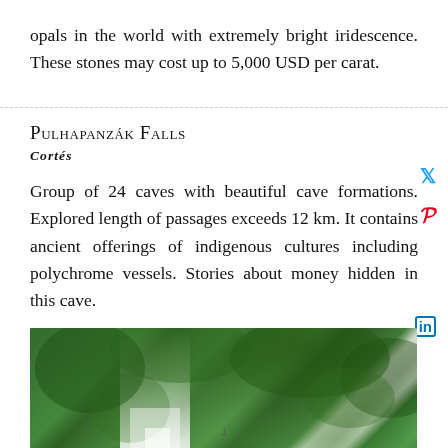opals in the world with extremely bright iridescence. These stones may cost up to 5,000 USD per carat.
Pulhapanzák Falls
CORTÉS
Group of 24 caves with beautiful cave formations. Explored length of passages exceeds 12 km. It contains ancient offerings of indigenous cultures including polychrome vessels. Stories about money hidden in this cave.
[Figure (photo): Photograph of Pulhapanzák Falls waterfall surrounded by lush green tropical vegetation and trees.]
↓